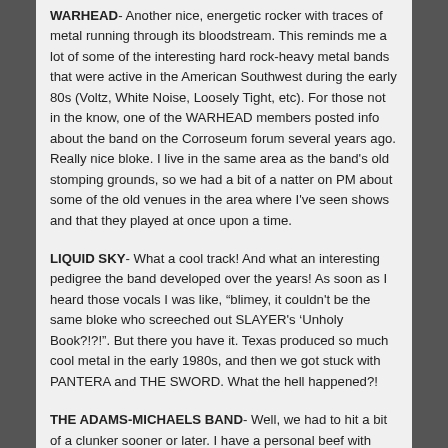WARHEAD- Another nice, energetic rocker with traces of metal running through its bloodstream. This reminds me a lot of some of the interesting hard rock-heavy metal bands that were active in the American Southwest during the early 80s (Voltz, White Noise, Loosely Tight, etc). For those not in the know, one of the WARHEAD members posted info about the band on the Corroseum forum several years ago. Really nice bloke. I live in the same area as the band's old stomping grounds, so we had a bit of a natter on PM about some of the old venues in the area where I've seen shows and that they played at once upon a time.
LIQUID SKY- What a cool track! And what an interesting pedigree the band developed over the years! As soon as I heard those vocals I was like, “blimey, it couldn't be the same bloke who screeched out SLAYER's 'Unholy Book?!?!". But there you have it. Texas produced so much cool metal in the early 1980s, and then we got stuck with PANTERA and THE SWORD. What the hell happened?!
THE ADAMS-MICHAELS BAND- Well, we had to hit a bit of a clunker sooner or later. I have a personal beef with every single band to ever record under the moniker of "Name of A